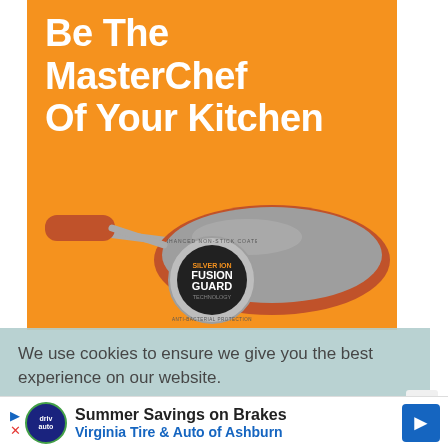[Figure (illustration): Advertisement banner with orange background showing a frying pan and text 'Be The MasterChef Of Your Kitchen' with a FusionGuard silver ion non-stick coated badge at the bottom.]
We use cookies to ensure we give you the best experience on our website.
.
[Figure (infographic): Bottom advertisement bar: 'Summer Savings on Brakes — Virginia Tire & Auto of Ashburn' with logos and navigation arrow.]